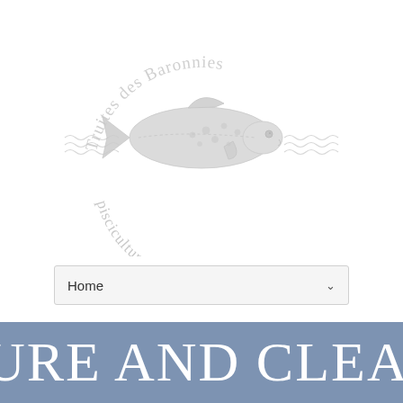[Figure (logo): Circular logo for 'Truites des Baronnies' featuring a detailed illustration of a trout fish in the center with decorative wave motifs on either side, and the text 'pisciculture l'eau claire' along the bottom arc. The logo is rendered in a very light gray/watermark style.]
Home
PURE AND CLEAN SPRING WATER